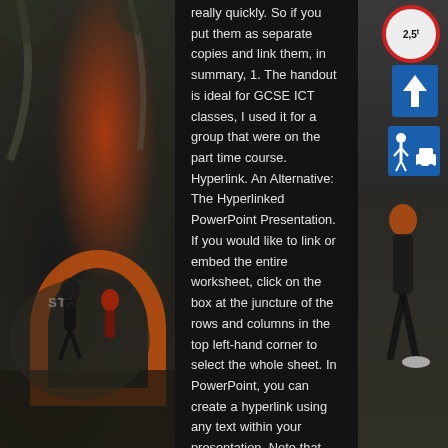[Figure (photo): Left background photo of runners at start of a road race with an orange inflatable arch marked 'STA' (START), trees and crowd visible, dark-toned.]
really quickly. So if you put them as separate copies and link them, in summary, 1. The handout is ideal for GCSE ICT classes, I used it for a group that were on the part time course. Hyperlink. An Alternative: The Hyperlinked PowerPoint Presentation. If you would like to link or embed the entire worksheet, click on the box at the juncture of the rows and columns in the top left-hand corner to select the whole sheet. In PowerPoint, you can create a hyperlink using any text within your presentation. Note that this type of hyperlink can only be used in PowerPoint; it won't work in a web browser when sharing a presentation online. To add a hyperlink to another slide, simply: Select the Text or an Object on your slide Open the Insert Hyperlink dialog box (Ctrl + K on your keyboard); Within the dialog box, Select Place in this Document' on the left Choose the slide you want to hyperlink to; Click OK After adding a hyperlink, simply run your presentation in slideshow mode and click the link. If the overall
[Figure (photo): Right background photo of a runner in orange vest and black shorts, road signs including a round red-bordered speed limit sign showing 2.5t, a blue arrow sign pointing up, and blue pedestrian/vehicle signs.]